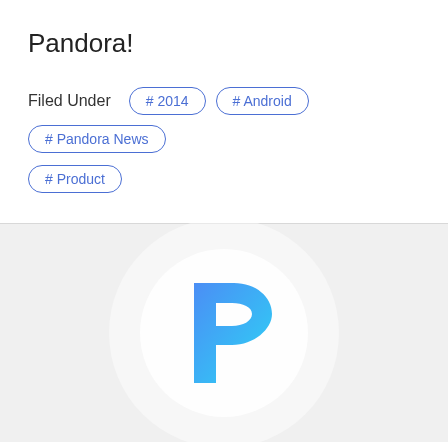Pandora!
Filed Under  # 2014  # Android  # Pandora News  # Product
[Figure (logo): Pandora logo — letter P in blue gradient on white circle, on light gray background]